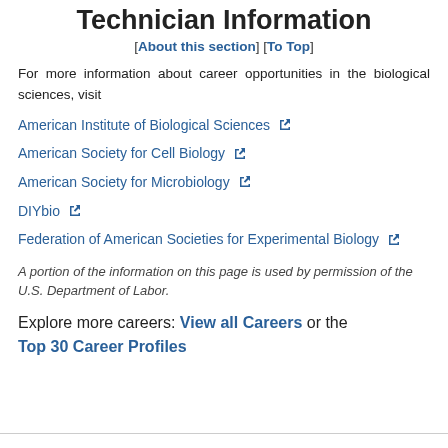Technician Information
[About this section] [To Top]
For more information about career opportunities in the biological sciences, visit
American Institute of Biological Sciences
American Society for Cell Biology
American Society for Microbiology
DIYbio
Federation of American Societies for Experimental Biology
A portion of the information on this page is used by permission of the U.S. Department of Labor.
Explore more careers: View all Careers or the Top 30 Career Profiles